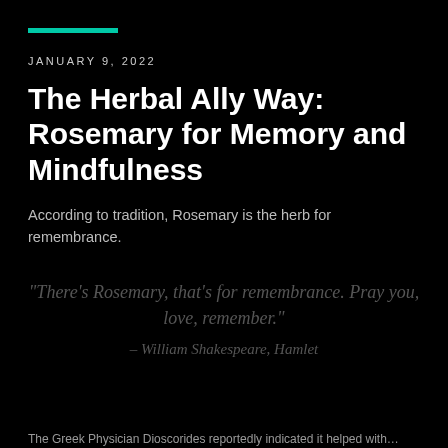JANUARY 9, 2022
The Herbal Ally Way: Rosemary for Memory and Mindfulness
According to tradition, Rosemary is the herb for remembrance.
“There’s Rosemary, that’s for remembrance. Pray you, love, remember.” – William Shakespeare, Hamlet
The Greek Physician Dioscorides reportedly indicated it helped with...